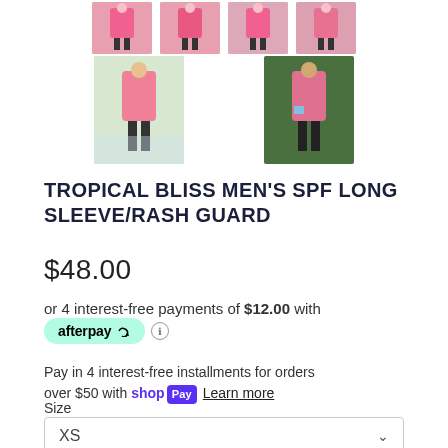[Figure (photo): Four small thumbnail images of a pink long sleeve rash guard from different angles]
[Figure (photo): Two larger thumbnail images: left shows man on beach wearing pink rash guard, right shows man outdoors wearing colorful rash guard]
TROPICAL BLISS MEN'S SPF LONG SLEEVE/RASH GUARD
$48.00
or 4 interest-free payments of $12.00 with
[Figure (logo): Afterpay logo pill badge in mint green with info icon]
Pay in 4 interest-free installments for orders over $50 with Shop Pay Learn more
Size
XS